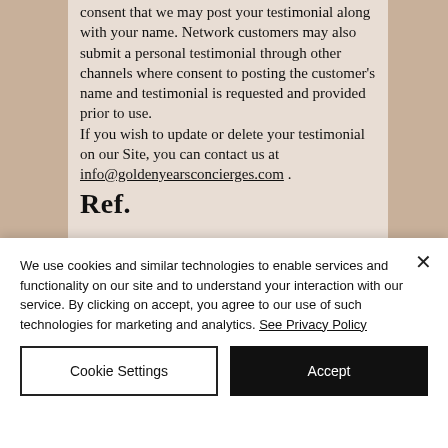consent that we may post your testimonial along with your name. Network customers may also submit a personal testimonial through other channels where consent to posting the customer's name and testimonial is requested and provided prior to use. If you wish to update or delete your testimonial on our Site, you can contact us at info@goldenyearsconcierges.com .
[Figure (screenshot): Partial section header text visible at bottom of document area, large bold serif font, partially cropped]
We use cookies and similar technologies to enable services and functionality on our site and to understand your interaction with our service. By clicking on accept, you agree to our use of such technologies for marketing and analytics. See Privacy Policy